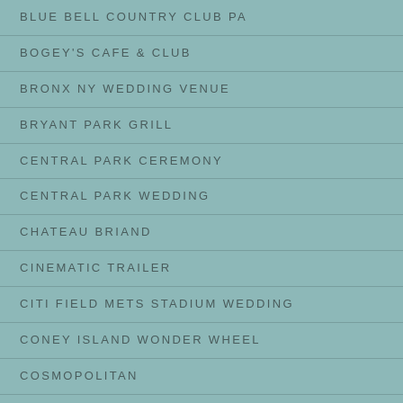BLUE BELL COUNTRY CLUB PA
BOGEY'S CAFE & CLUB
BRONX NY WEDDING VENUE
BRYANT PARK GRILL
CENTRAL PARK CEREMONY
CENTRAL PARK WEDDING
CHATEAU BRIAND
CINEMATIC TRAILER
CITI FIELD METS STADIUM WEDDING
CONEY ISLAND WONDER WHEEL
COSMOPOLITAN
CREST HOLLOW COUNTRY CLUB